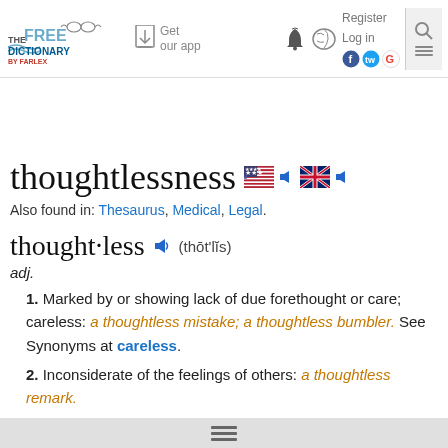The Free Dictionary by Farlex — Get our app — Register — Log in
thoughtlessness
Also found in: Thesaurus, Medical, Legal.
thought·less (thōt'lĭs)
adj.
1. Marked by or showing lack of due forethought or care; careless: a thoughtless mistake; a thoughtless bumbler. See Synonyms at careless.
2. Inconsiderate of the feelings of others: a thoughtless remark.